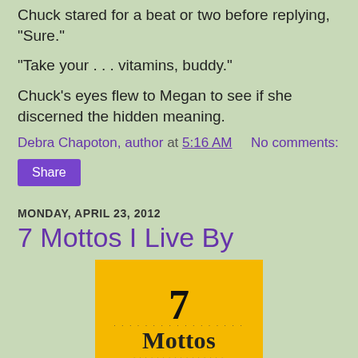Chuck stared for a beat or two before replying, "Sure."
“Take your . . . vitamins, buddy.”
Chuck’s eyes flew to Megan to see if she discerned the hidden meaning.
Debra Chapoton, author at 5:16 AM    No comments:
Share
MONDAY, APRIL 23, 2012
7 Mottos I Live By
[Figure (illustration): Yellow square image with large '7' at top and 'Mottos' text below in decorative font with scattered dot pattern, on an orange-yellow background.]